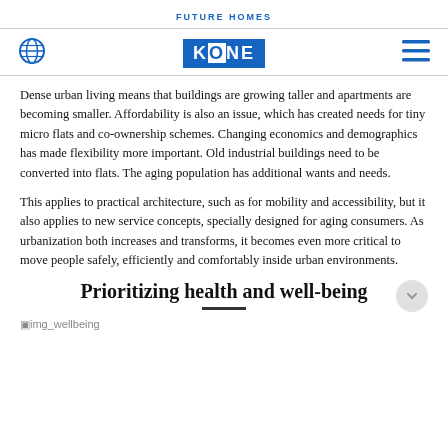FUTURE HOMES
[Figure (logo): Globe icon, KONE logo, and hamburger menu icon navigation bar]
Dense urban living means that buildings are growing taller and apartments are becoming smaller. Affordability is also an issue, which has created needs for tiny micro flats and co-ownership schemes. Changing economics and demographics has made flexibility more important. Old industrial buildings need to be converted into flats. The aging population has additional wants and needs.
This applies to practical architecture, such as for mobility and accessibility, but it also applies to new service concepts, specially designed for aging consumers. As urbanization both increases and transforms, it becomes even more critical to move people safely, efficiently and comfortably inside urban environments.
Prioritizing health and well-being
[Figure (photo): img_wellbeing image placeholder]